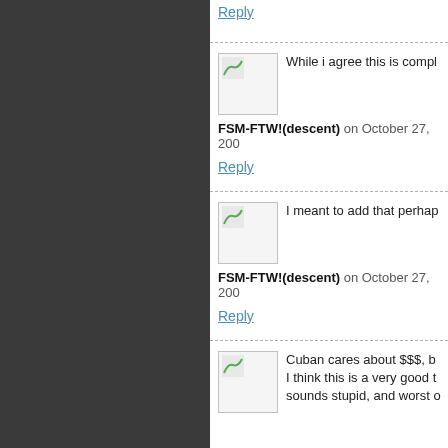Reply
While i agree this is compl...
FSM-FTW!(descent) on October 27, 200...
Reply
I meant to add that perhap...
FSM-FTW!(descent) on October 27, 200...
Reply
Cuban cares about $$$, b... I think this is a very good t... sounds stupid, and worst o...